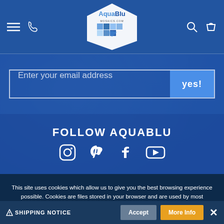AquaBlu Mosaics.com
Enter your email address
FOLLOW AQUABLU
[Figure (illustration): Social media icons: Instagram, Pinterest, Facebook, YouTube]
This site uses cookies which allow us to give you the best browsing experience possible. Cookies are files stored in your browser and are used by most websites to help personalize your web experience. By continuing to use our website without changing settings, you are agreeing to our use of cookies. To find out more, please visit our Privacy Policy.
⚠ SHIPPING NOTICE   Accept   More Info   ✕